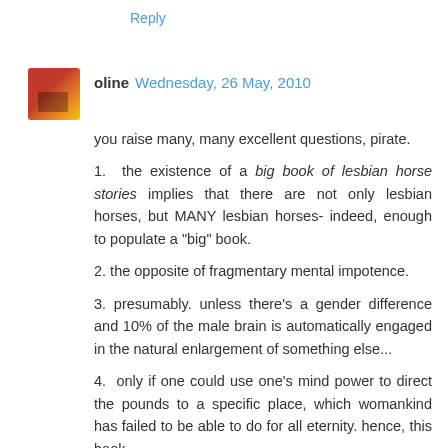Reply
oline Wednesday, 26 May, 2010
you raise many, many excellent questions, pirate.
1.  the existence of a big book of lesbian horse stories implies that there are not only lesbian horses, but MANY lesbian horses- indeed, enough to populate a "big" book.
2. the opposite of fragmentary mental impotence.
3. presumably. unless there's a gender difference and 10% of the male brain is automatically engaged in the natural enlargement of something else...
4.  only if one could use one's mind power to direct the pounds to a specific place, which womankind has failed to be able to do for all eternity. hence, this book.
5. she hasn't?
Reply